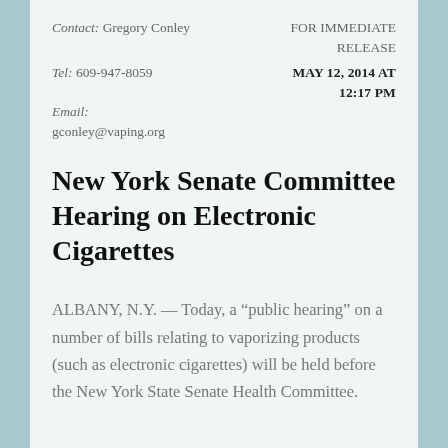Contact: Gregory Conley
FOR IMMEDIATE RELEASE
Tel: 609-947-8059
MAY 12, 2014 AT 12:17 PM
Email: gconley@vaping.org
New York Senate Committee Hearing on Electronic Cigarettes
ALBANY, N.Y. — Today, a “public hearing” on a number of bills relating to vaporizing products (such as electronic cigarettes) will be held before the New York State Senate Health Committee.